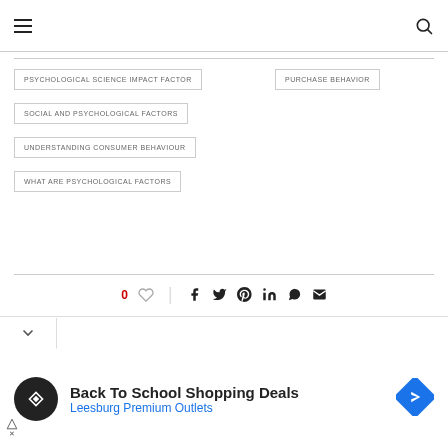Navigation header with hamburger menu and search icon
PSYCHOLOGICAL SCIENCE IMPACT FACTOR
PURCHASE BEHAVIOR
SOCIAL AND PSYCHOLOGICAL FACTORS
UNDERSTANDING CONSUMER BEHAVIOUR
WHAT ARE PSYCHOLOGICAL FACTORS
0 like count, social sharing icons: facebook, twitter, pinterest, linkedin, whatsapp, email
[Figure (infographic): Advertisement: Back To School Shopping Deals - Leesburg Premium Outlets with logo and direction sign icon]